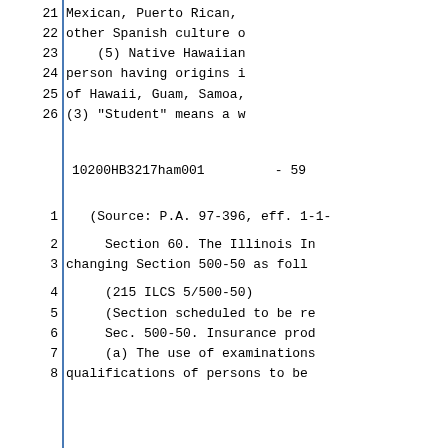21    Mexican, Puerto Rican,
22    other Spanish culture o
23    (5) Native Hawaiian
24    person having origins i
25    of Hawaii, Guam, Samoa,
26    (3) "Student" means a w
10200HB3217ham001      - 59
1    (Source: P.A. 97-396, eff. 1-1-
2    Section 60. The Illinois In
3    changing Section 500-50 as foll
4    (215 ILCS 5/500-50)
5    (Section scheduled to be re
6    Sec. 500-50. Insurance prod
7    (a) The use of examinations
8    qualifications of persons to be